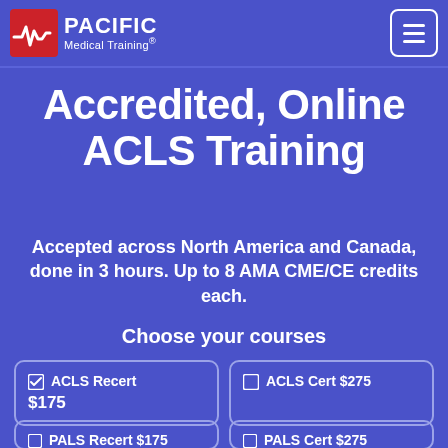Pacific Medical Training
Accredited, Online ACLS Training
Accepted across North America and Canada, done in 3 hours. Up to 8 AMA CME/CE credits each.
Choose your courses
☑ ACLS Recert $175
☐ ACLS Cert $275
☐ PALS Recert $175
☐ PALS Cert $275